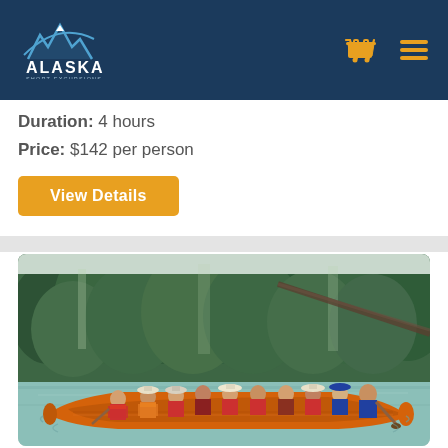[Figure (logo): Alaska Shore Excursions logo with mountain peaks and text on dark navy header]
Duration: 4 hours
Price: $142 per person
View Details
[Figure (photo): Group of people paddling a large orange canoe on calm turquoise water with dense green forest in background]